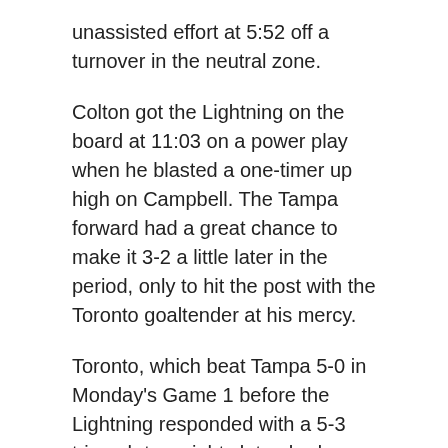unassisted effort at 5:52 off a turnover in the neutral zone.
Colton got the Lightning on the board at 11:03 on a power play when he blasted a one-timer up high on Campbell. The Tampa forward had a great chance to make it 3-2 a little later in the period, only to hit the post with the Toronto goaltender at his mercy.
Toronto, which beat Tampa 5-0 in Monday's Game 1 before the Lightning responded with a 5-3 triumph two nights later, had a great opportunity to restore the three-goal lead five minutes into the third, but Vasilevskiy stopped Matthews on a break and the 60-goal man's rebound effort.